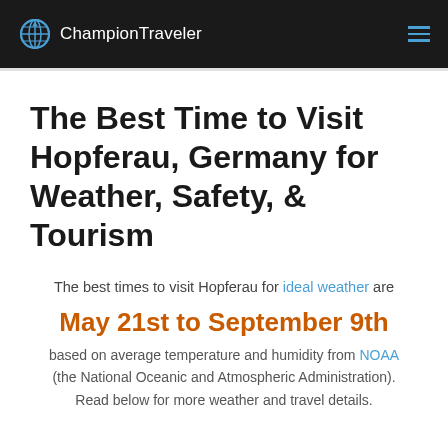ChampionTraveler
The Best Time to Visit Hopferau, Germany for Weather, Safety, & Tourism
The best times to visit Hopferau for ideal weather are
May 21st to September 9th
based on average temperature and humidity from NOAA (the National Oceanic and Atmospheric Administration). Read below for more weather and travel details.